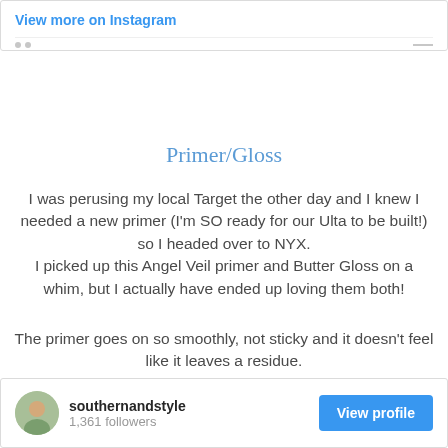View more on Instagram
Primer/Gloss
I was perusing my local Target the other day and I knew I needed a new primer (I'm SO ready for our Ulta to be built!) so I headed over to NYX.
I picked up this Angel Veil primer and Butter Gloss on a whim, but I actually have ended up loving them both!
The primer goes on so smoothly, not sticky and it doesn't feel like it leaves a residue.
The gloss is really sticky and unfortunately doesn't have a lot of staying power, but I've actually learned to love it.
The color "Dulche de Leche" is gorgeous!
southernandstyle
1,361 followers
View profile